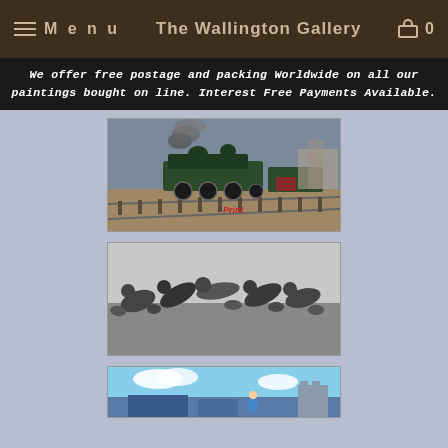Menu | The Wallington Gallery | 0
We offer free postage and packing Worldwide on all our paintings bought on line. Interest Free Payments Available.
[Figure (photo): Painting of a steam locomotive (green) on railway tracks with smoke, a red vehicle in background, labeled 'Print' in red text]
[Figure (photo): Black and white illustration of multiple workers or figures bent over and laboring on rocky ground]
[Figure (photo): Partial view of a colorful painting showing blue sky, clouds, and what appears to be a seaside or coastal scene with signage]